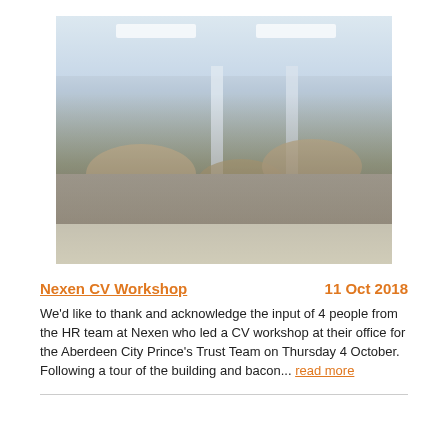[Figure (photo): People seated at round tables in a modern open-plan office space, with ceiling lights and columns visible. A CV workshop session at Nexen's office.]
Nexen CV Workshop
11 Oct 2018
We'd like to thank and acknowledge the input of 4 people from the HR team at Nexen who led a CV workshop at their office for the Aberdeen City Prince's Trust Team on Thursday 4 October.  Following a tour of the building and bacon... read more